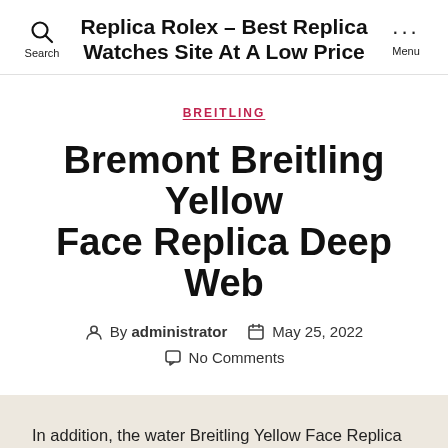Replica Rolex - Best Replica Watches Site At A Low Price
BREITLING
Bremont Breitling Yellow Face Replica Deep Web
By administrator   May 25, 2022   No Comments
In addition, the water Breitling Yellow Face Replica is linked to disappointment coverage. The key aesthetic